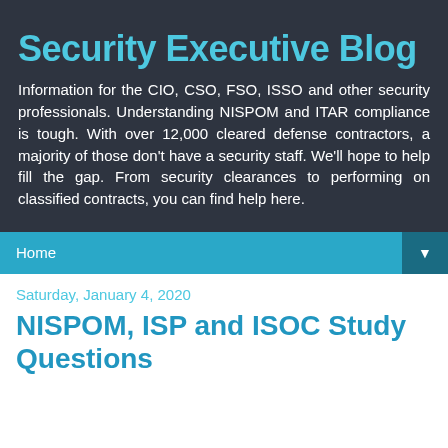Security Executive Blog
Information for the CIO, CSO, FSO, ISSO and other security professionals. Understanding NISPOM and ITAR compliance is tough. With over 12,000 cleared defense contractors, a majority of those don't have a security staff. We'll hope to help fill the gap. From security clearances to performing on classified contracts, you can find help here.
Home
Saturday, January 4, 2020
NISPOM, ISP and ISOC Study Questions